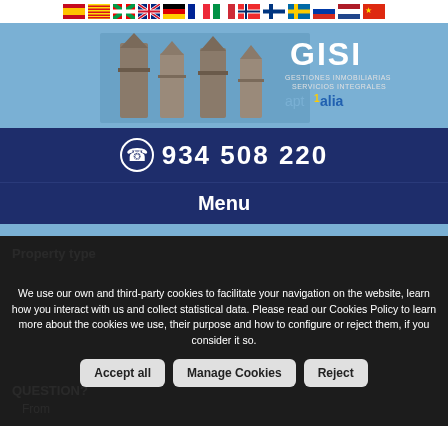Language flags bar with multiple country flags
[Figure (illustration): GISI Gestiones Inmobiliarias Servicios Integrales banner with Sagrada Familia towers and aptalia logo]
934 508 220
Menu
We use our own and third-party cookies to facilitate your navigation on the website, learn how you interact with us and collect statistical data. Please read our Cookies Policy to learn more about the cookies we use, their purpose and how to configure or reject them, if you consider it so.
Accept all
Manage Cookies
Reject
QUESTION?
From